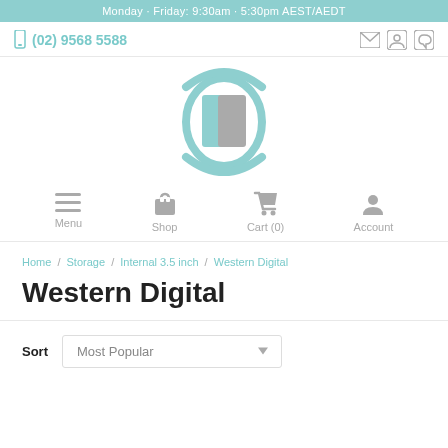Monday - Friday: 9:30am - 5:30pm AEST/AEDT
(02) 9568 5588
[Figure (logo): Company logo with teal circular swoosh design]
Menu  Shop  Cart (0)  Account
Home / Storage / Internal 3.5 inch / Western Digital
Western Digital
Sort  Most Popular